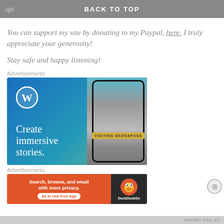up! BACK TO TOP
You can support my site by donating to my Paypal, here. I truly appreciate your generosity!
Stay safe and happy listening!
Advertisements
[Figure (illustration): WordPress advertisement: blue gradient background with WordPress logo, tagline 'Create immersive stories.' and a smartphone showing a waterfall photo labeled 'VISITING SKÓGAFOSS']
Advertisements
[Figure (illustration): DuckDuckGo advertisement: orange left panel with text 'Search, browse, and email with more privacy. All in One Free App' and dark right panel with DuckDuckGo logo and brand name]